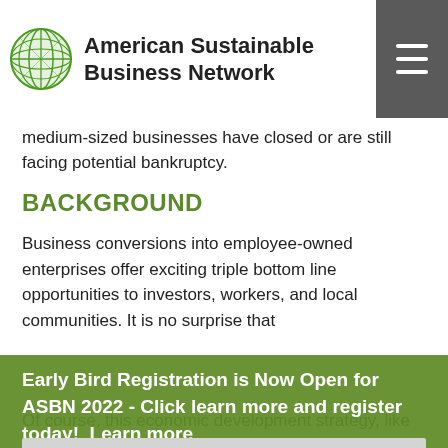American Sustainable Business Network
medium-sized businesses have closed or are still facing potential bankruptcy.
BACKGROUND
Business conversions into employee-owned enterprises offer exciting triple bottom line opportunities to investors, workers, and local communities. It is no surprise that more than 20 local and state governments in the U.S. have designed programs to encourage such transactions. Because this model is based on converting already successful companies, it substantially lowers the risk to investors, entrepreneurs and workers, as compared to startup ventures.
Early Bird Registration is Now Open for ASBN 2022 - Click learn more and register today!  Learn more
Got it!
Of course, this economic development strategy, like all